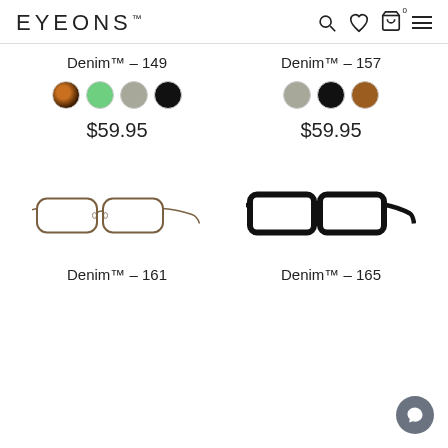EYEONS™ — navigation header with search, wishlist, cart, and menu icons
Denim™ – 149
[Figure (illustration): Four color swatches: tortoise, green, gray, black]
$59.95
Denim™ – 157
[Figure (illustration): Three color swatches: gray, black, brown]
$59.95
[Figure (illustration): Thin metal frame eyeglasses, gunmetal/bronze color – Denim 161]
Denim™ – 161
[Figure (illustration): Thick black plastic frame eyeglasses – Denim 165]
Denim™ – 165